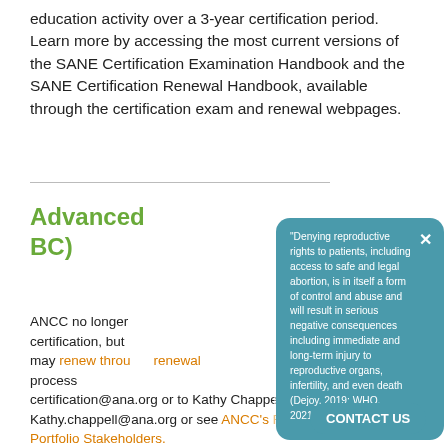education activity over a 3-year certification period. Learn more by accessing the most current versions of the SANE Certification Examination Handbook and the SANE Certification Renewal Handbook, available through the certification exam and renewal webpages.
Advanced ... BC)
ANCC no longer ... certification, but ... may renew through ... renewal process. ... certification@ana.org or to Kathy Chappell at Kathy.chappell@ana.org or see ANCC's FAQs for Portfolio Stakeholders.
[Figure (other): Popup box with teal background containing quote: 'Denying reproductive rights to patients, including access to safe and legal abortion, is in itself a form of control and abuse and will result in serious negative consequences including immediate and long-term injury to reproductive organs, infertility, and even death (Dejoy, 2019; WHO, 2021).' READ MORE >> with a close X button and CONTACT US button]
"Denying reproductive rights to patients, including access to safe and legal abortion, is in itself a form of control and abuse and will result in serious negative consequences including immediate and long-term injury to reproductive organs, infertility, and even death (Dejoy, 2019; WHO, 2021)." READ MORE >>